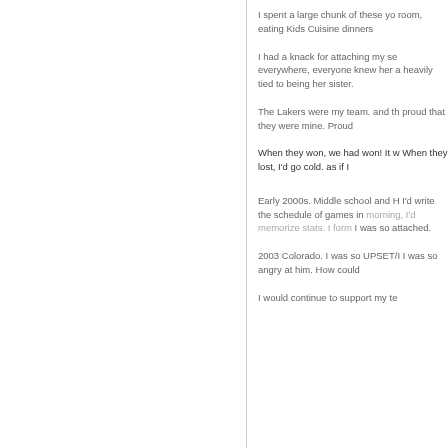I spent a large chunk of these yo room, eating Kids Cuisine dinners
I had a knack for attaching my se everywhere, everyone knew her a heavily tied to being her sister.
The Lakers were my team. and th proud that they were mine. Proud
When they won, we had won! It w When they lost, I'd go cold. as if I
Early 2000s. Middle school and H I'd write the schedule of games in morning, I'd memorize stats. I form I was so attached.
2003 Colorado. I was so UPSET/I I was so angry at him. How could
I would continue to support my te